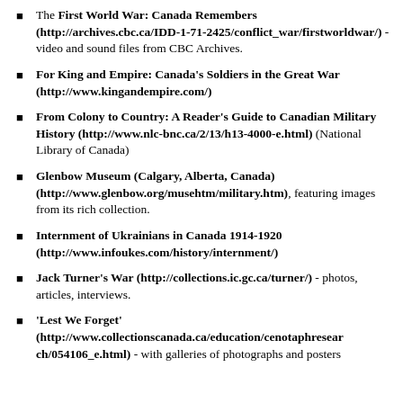The First World War: Canada Remembers (http://archives.cbc.ca/IDD-1-71-2425/conflict_war/firstworldwar/) - video and sound files from CBC Archives.
For King and Empire: Canada's Soldiers in the Great War (http://www.kingandempire.com/)
From Colony to Country: A Reader's Guide to Canadian Military History (http://www.nlc-bnc.ca/2/13/h13-4000-e.html) (National Library of Canada)
Glenbow Museum (Calgary, Alberta, Canada) (http://www.glenbow.org/musehtm/military.htm), featuring images from its rich collection.
Internment of Ukrainians in Canada 1914-1920 (http://www.infoukes.com/history/internment/)
Jack Turner's War (http://collections.ic.gc.ca/turner/) - photos, articles, interviews.
'Lest We Forget' (http://www.collectionscanada.ca/education/cenotaphresearch/054106_e.html) - with galleries of photographs and posters